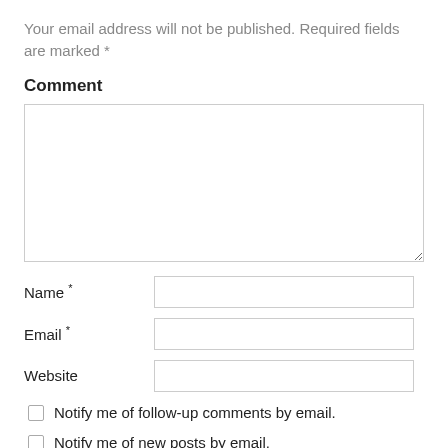Your email address will not be published. Required fields are marked *
Comment
[Figure (screenshot): Empty comment text area input box]
Name *
Email *
Website
Notify me of follow-up comments by email.
Notify me of new posts by email.